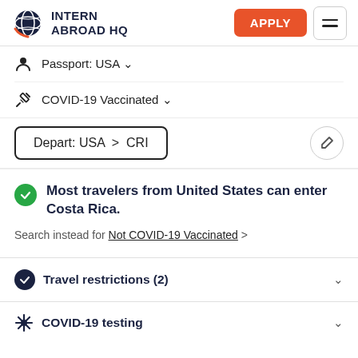INTERN ABROAD HQ — APPLY
Passport: USA
COVID-19 Vaccinated
Depart: USA > CRI
Most travelers from United States can enter Costa Rica.
Search instead for Not COVID-19 Vaccinated >
Travel restrictions (2)
COVID-19 testing